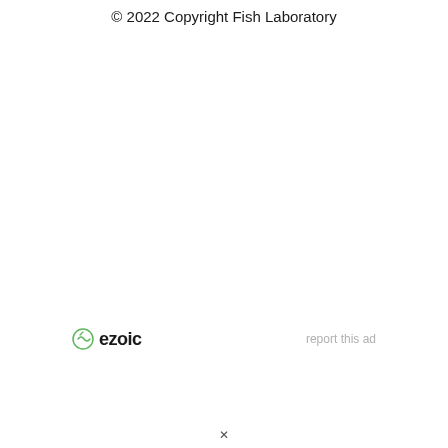© 2022 Copyright Fish Laboratory
[Figure (logo): Ezoic logo with green circular icon and bold 'ezoic' text, alongside 'report this ad' text in gray]
report this ad